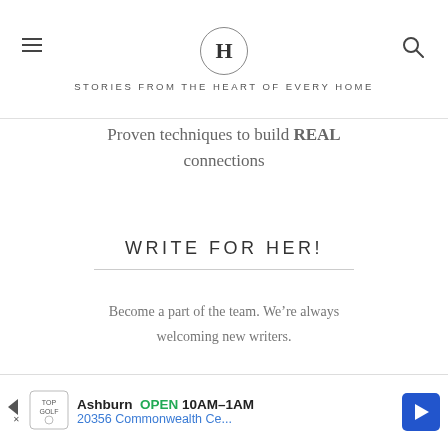H — STORIES FROM THE HEART OF EVERY HOME
Proven techniques to build REAL connections
WRITE FOR HER!
Become a part of the team. We’re always welcoming new writers.
LEARN MORE
[Figure (other): Advertisement banner: Topgolf Ashburn OPEN 10AM-1AM, 20356 Commonwealth Ce...]